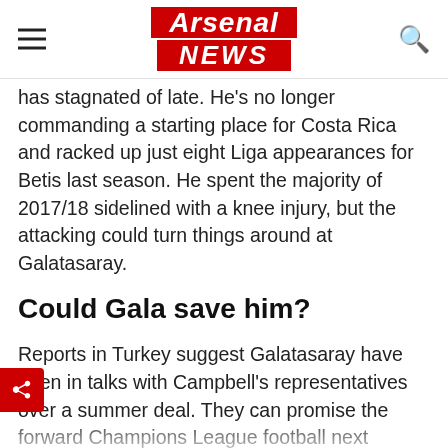Arsenal NEWS
has stagnated of late. He's no longer commanding a starting place for Costa Rica and racked up just eight Liga appearances for Betis last season. He spent the majority of 2017/18 sidelined with a knee injury, but the attacking could turn things around at Galatasaray.
Could Gala save him?
Reports in Turkey suggest Galatasaray have been in talks with Campbell's representatives over a summer deal. They can promise the forward Champions League football next season and are the Turkish Super Lig defending champions. He could certainly do worse than the Türk Telekom Stadium.